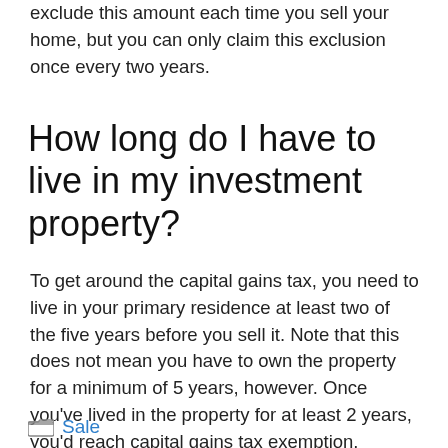exclude this amount each time you sell your home, but you can only claim this exclusion once every two years.
How long do I have to live in my investment property?
To get around the capital gains tax, you need to live in your primary residence at least two of the five years before you sell it. Note that this does not mean you have to own the property for a minimum of 5 years, however. Once you've lived in the property for at least 2 years, you'd reach capital gains tax exemption.
Sale